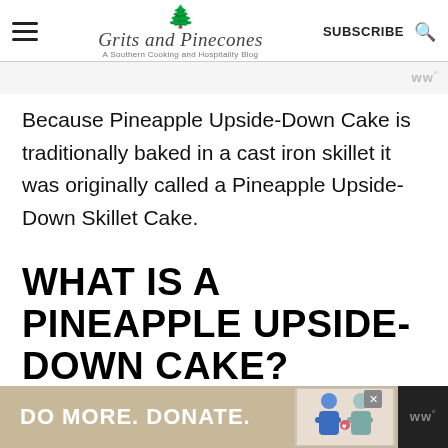Grits and Pinecones – A Southern Cooking and Hospitality Blog
Because Pineapple Upside-Down Cake is traditionally baked in a cast iron skillet it was originally called a Pineapple Upside-Down Skillet Cake.
WHAT IS A PINEAPPLE UPSIDE-DOWN CAKE?
If
[Figure (infographic): Bottom advertisement banner reading 'DO MORE. DONATE.' with illustration of two figures and a close button]